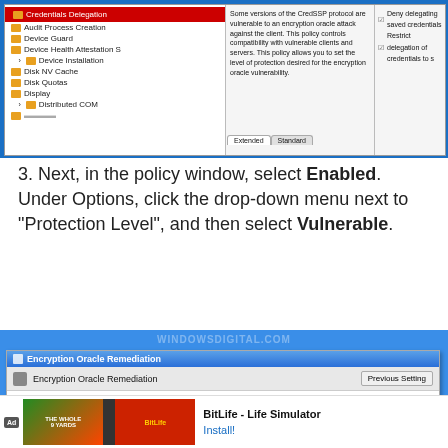[Figure (screenshot): Windows Group Policy Editor screenshot showing left panel with items including Audit Process Creation, Credentials Delegation (highlighted in red), Device Guard, Device Health Attestation, Device Installation, Disk NV Cache, Disk Quotas, Display, Distributed COM. Middle panel shows CredSSP description text about encryption oracle attack. Right panel shows policy options including Deny delegating saved credentials and Restrict delegation of credentials.]
3. Next, in the policy window, select Enabled. Under Options, click the drop-down menu next to "Protection Level", and then select Vulnerable.
[Figure (screenshot): Windows Group Policy setting dialog titled Encryption Oracle Remediation. Shows toolbar with Previous Setting button. Body contains radio buttons: Not Configured, Enabled (selected, highlighted in red box), and a Comment section.]
[Figure (screenshot): Ad banner at bottom showing BitLife - Life Simulator advertisement with Install button.]